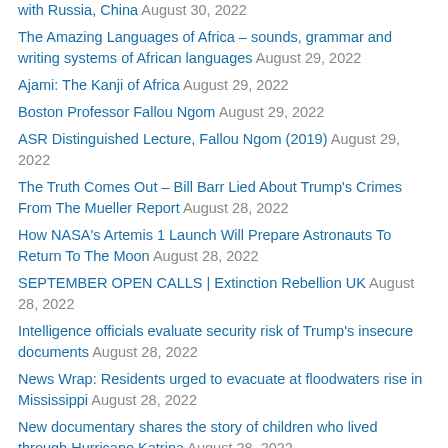with Russia, China August 30, 2022
The Amazing Languages of Africa – sounds, grammar and writing systems of African languages August 29, 2022
Ajami: The Kanji of Africa August 29, 2022
Boston Professor Fallou Ngom August 29, 2022
ASR Distinguished Lecture, Fallou Ngom (2019) August 29, 2022
The Truth Comes Out – Bill Barr Lied About Trump's Crimes From The Mueller Report August 28, 2022
How NASA's Artemis 1 Launch Will Prepare Astronauts To Return To The Moon August 28, 2022
SEPTEMBER OPEN CALLS | Extinction Rebellion UK August 28, 2022
Intelligence officials evaluate security risk of Trump's insecure documents August 28, 2022
News Wrap: Residents urged to evacuate at floodwaters rise in Mississippi August 28, 2022
New documentary shares the story of children who lived through Hurricane Katrina August 28, 2022
Trees across the U.S. face dire threats, new report shows August 28, 2022
Gene Rossi on redacted affidavit in the Trump case – YouTube August